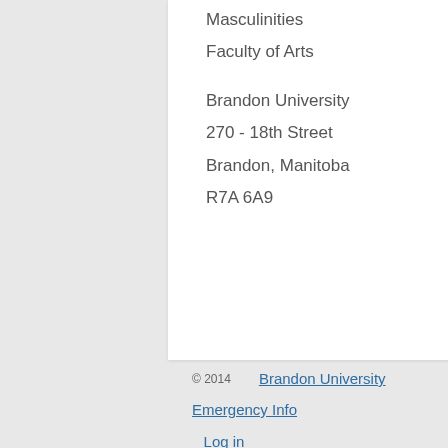Masculinities
Faculty of Arts
Brandon University
270 - 18th Street
Brandon, Manitoba
R7A 6A9
© 2014   Brandon University   Emergency Info   Log in